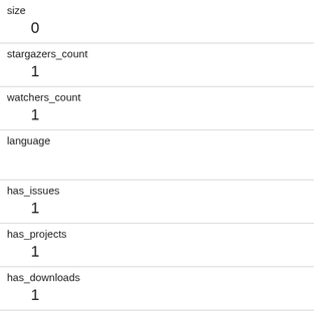| Field | Value |
| --- | --- |
| size | 0 |
| stargazers_count | 1 |
| watchers_count | 1 |
| language |  |
| has_issues | 1 |
| has_projects | 1 |
| has_downloads | 1 |
| has_wiki | 1 |
| has_pages | 0 |
| forks_count | 0 |
| archived |  |